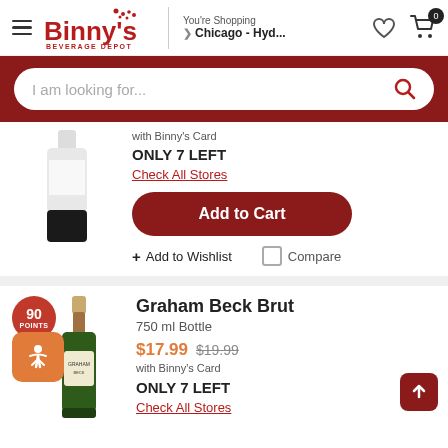Binny's Beverage Depot — You're Shopping Chicago - Hyd...
I am looking for...
with Binny's Card
ONLY 7 LEFT
Check All Stores
Add to Cart
+ Add to Wishlist   Compare
Graham Beck Brut
750 ml Bottle
$17.99  $19.99
with Binny's Card
ONLY 7 LEFT
Check All Stores
[Figure (photo): 90 Points badge with orange accessibility icon, and a champagne bottle (Graham Beck Brut) with gold foil top]